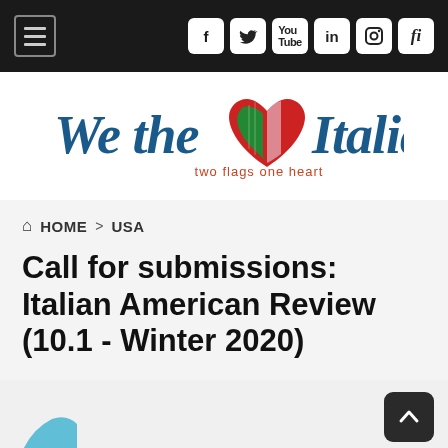We the Italians — navigation bar with hamburger menu and social icons (Facebook, Twitter, YouTube, LinkedIn, Instagram, fi)
[Figure (logo): We the Italians logo — cursive 'We the' text, a heart with American and Italian flag design, then 'Italians' text, with tagline 'two flags one heart']
HOME > USA
Call for submissions: Italian American Review (10.1 - Winter 2020)